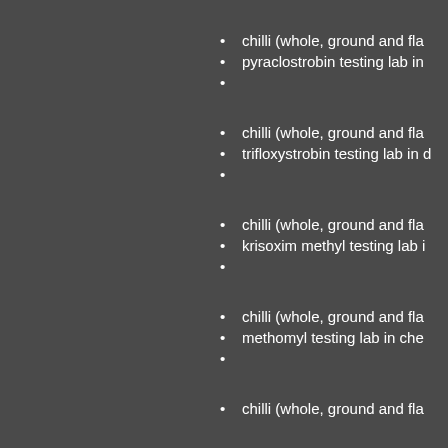chilli (whole, ground and fla
pyraclostrobin testing lab in
chilli (whole, ground and fla
trifloxystrobin testing lab in d
chilli (whole, ground and fla
krisoxim methyl testing lab i
chilli (whole, ground and fla
methomyl testing lab in che
chilli (whole, ground and fla